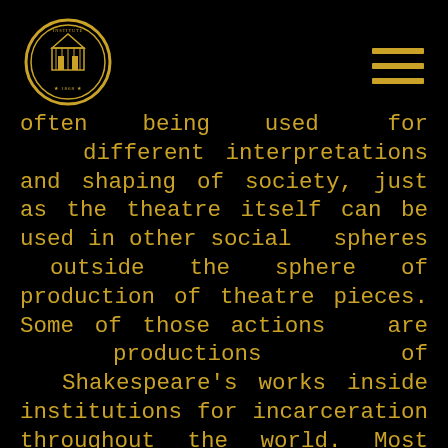[Logo: institution seal] [hamburger menu icon]
often being used for different interpretations and shaping of society, just as the theatre itself can be used in other social spheres outside the sphere of production of theatre pieces. Some of those actions are productions of Shakespeare's works inside institutions for incarceration throughout the world. Most often, those are projects aiming at resocialisation, adaptation and intellectual/creative activation of inmates. In the production Project Shakespeare – A Midsummer Night's Dream, the initial idea was to deal with this phenomenon regarding utilisation of Shakespeare's text. It is not therefore